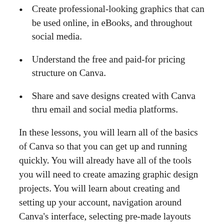Create professional-looking graphics that can be used online, in eBooks, and throughout social media.
Understand the free and paid-for pricing structure on Canva.
Share and save designs created with Canva thru email and social media platforms.
In these lessons, you will learn all of the basics of Canva so that you can get up and running quickly. You will already have all of the tools you will need to create amazing graphic design projects. You will learn about creating and setting up your account, navigation around Canva's interface, selecting pre-made layouts and templates, adding artwork, images, text, and backgrounds, sharing your designs for social media platforms, and downloading and printing your